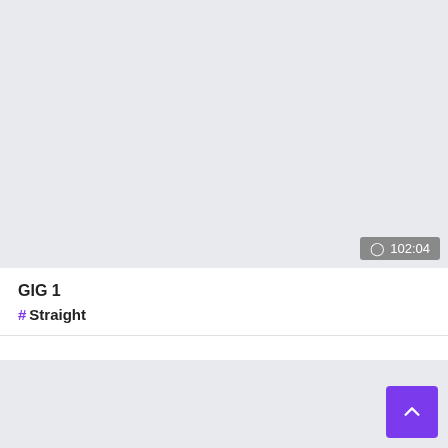[Figure (screenshot): Large light gray video/image placeholder area with a timestamp badge showing a clock icon and '102:04' in the bottom-right corner]
GIG 1
# Straight
[Figure (screenshot): Light gray area at the bottom of the page with a purple scroll-to-top button (chevron up icon) in the bottom-right corner]